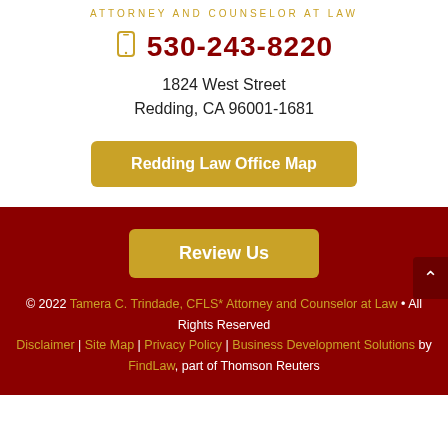ATTORNEY AND COUNSELOR AT LAW
530-243-8220
1824 West Street
Redding, CA 96001-1681
Redding Law Office Map
Review Us
© 2022 Tamera C. Trindade, CFLS* Attorney and Counselor at Law • All Rights Reserved Disclaimer | Site Map | Privacy Policy | Business Development Solutions by FindLaw, part of Thomson Reuters